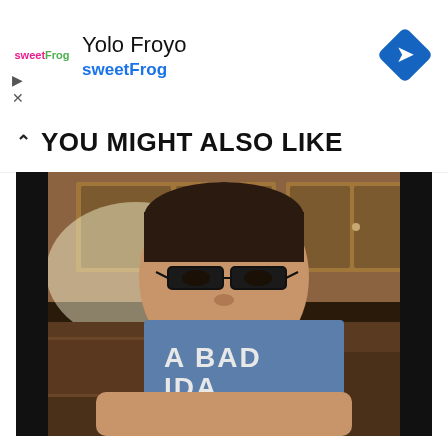[Figure (other): Advertisement banner for sweetFrog 'Yolo Froyo' with sweetFrog logo, play/close icons, and navigation diamond icon]
YOU MIGHT ALSO LIKE
[Figure (photo): Video thumbnail showing a man wearing glasses holding up a blue book or card with text 'A BAD IDA...' partially visible, in a kitchen setting]